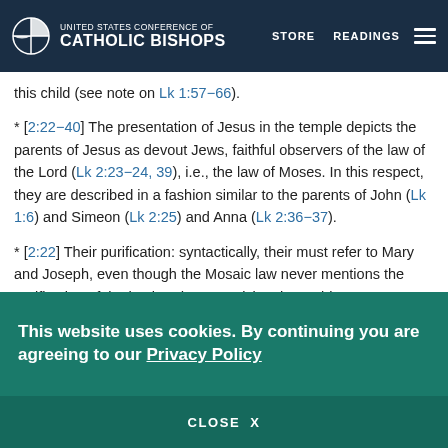UNITED STATES CONFERENCE OF CATHOLIC BISHOPS — STORE   READINGS
this child (see note on Lk 1:57–66).
* [2:22–40] The presentation of Jesus in the temple depicts the parents of Jesus as devout Jews, faithful observers of the law of the Lord (Lk 2:23–24, 39), i.e., the law of Moses. In this respect, they are described in a fashion similar to the parents of John (Lk 1:6) and Simeon (Lk 2:25) and Anna (Lk 2:36–37).
* [2:22] Their purification: syntactically, their must refer to Mary and Joseph, even though the Mosaic law never mentions the purification of the husband. Recognizing the problem, some Western scribes have altered the text to read "her purification" and to re-direct the presentation...
This website uses cookies. By continuing you are agreeing to our Privacy Policy
CLOSE  X